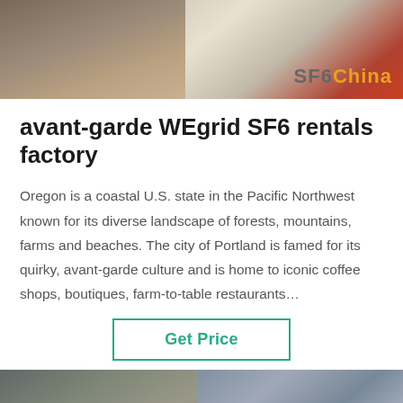[Figure (photo): Top banner photo showing industrial SF6 equipment with orange/brown tones and 'SF6China' watermark in orange text at bottom right]
avant-garde WEgrid SF6 rentals factory
Oregon is a coastal U.S. state in the Pacific Northwest known for its diverse landscape of forests, mountains, farms and beaches. The city of Portland is famed for its quirky, avant-garde culture and is home to iconic coffee shops, boutiques, farm-to-table restaurants…
[Figure (screenshot): Green 'Get Price' button with teal/green border]
[Figure (photo): Bottom section showing industrial equipment photos with a chat bar overlay, green scroll-to-top arrow button, and a dark bottom bar with 'Leave Message' and 'Chat Online' text flanking a circular customer service avatar with green ring border]